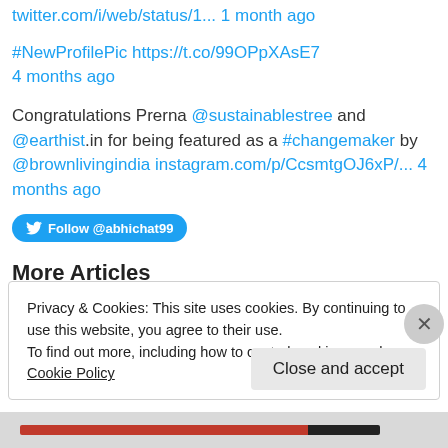twitter.com/i/web/status/1... 1 month ago
#NewProfilePic https://t.co/99OPpXAsE7 4 months ago
Congratulations Prerna @sustainablestree and @earthist.in for being featured as a #changemaker by @brownlivingindia instagram.com/p/CcsmtgOJ6xP/... 4 months ago
Follow @abhichat99
More Articles
Crafting your own story
Privacy & Cookies: This site uses cookies. By continuing to use this website, you agree to their use.
To find out more, including how to control cookies, see here: Cookie Policy
Close and accept